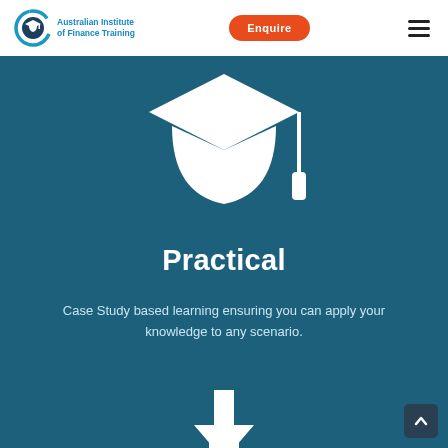[Figure (logo): Australian Institute of Finance Training logo with circular icon and teal text]
Enquire
[Figure (illustration): Hamburger menu icon with three horizontal lines]
[Figure (illustration): White graduation cap (mortarboard) icon on dark teal background]
Practical
Case Study based learning ensuring you can apply your knowledge to any scenario.
[Figure (illustration): White arrows pointing in multiple directions (flexibility/options icon) on dark teal background, partially visible at bottom]